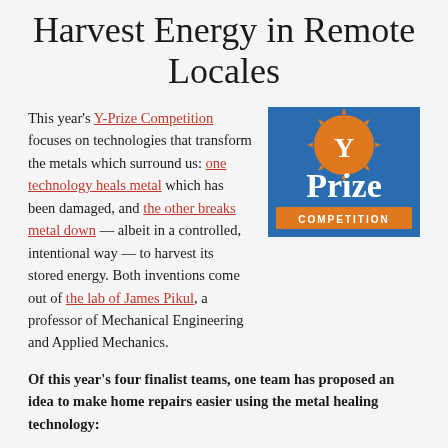Harvest Energy in Remote Locales
This year's Y-Prize Competition focuses on technologies that transform the metals which surround us: one technology heals metal which has been damaged, and the other breaks metal down — albeit in a controlled, intentional way — to harvest its stored energy. Both inventions come out of the lab of James Pikul, a professor of Mechanical Engineering and Applied Mechanics.
[Figure (logo): Y-Prize Competition logo: blue background with orange sunburst circle containing white 'Y', large white 'Prize' text, orange 'COMPETITION' banner]
Of this year's four finalist teams, one team has proposed an idea to make home repairs easier using the metal healing technology: